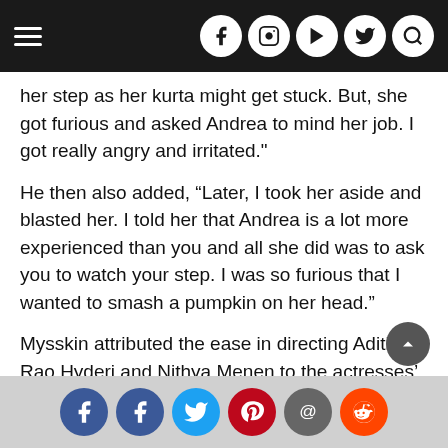[Navigation bar with hamburger menu and social icons: Facebook, Instagram, YouTube, Twitter, Search]
her step as her kurta might get stuck. But, she got furious and asked Andrea to mind her job. I got really angry and irritated."
He then also added, “Later, I took her aside and blasted her. I told her that Andrea is a lot more experienced than you and all she did was to ask you to watch your step. I was so furious that I wanted to smash a pumpkin on her head.”
Mysskin attributed the ease in directing Aditi Rao Hyderi and Nithya Menen to the actresses’ maturity. “On the sets of Psycho, there was no problem because everyone’s mature,” the director said.
Psycho marked Mysskin’s first directorial venture
[Share bar with Facebook, Facebook, Twitter, Pinterest, Email, Reddit icons]